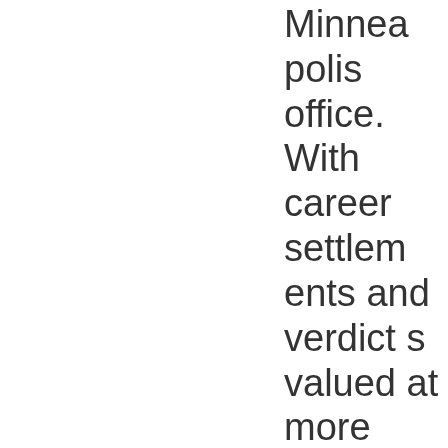firm's Minneapolis office. With career settlements and verdicts valued at more than $150 million, Michelle has had